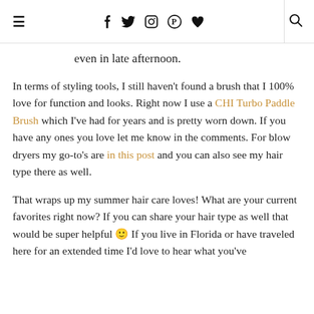≡  f  🐦  Instagram  Pinterest  ♥  |  🔍
even in late afternoon.
In terms of styling tools, I still haven't found a brush that I 100% love for function and looks. Right now I use a CHI Turbo Paddle Brush which I've had for years and is pretty worn down. If you have any ones you love let me know in the comments. For blow dryers my go-to's are in this post and you can also see my hair type there as well.
That wraps up my summer hair care loves! What are your current favorites right now? If you can share your hair type as well that would be super helpful 🙂 If you live in Florida or have traveled here for an extended time I'd love to hear what you've